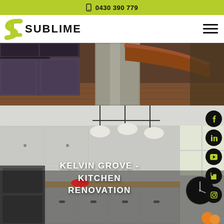📱 0430 390 779
SUBLIME
[Figure (photo): Dark purple kitchen cabinetry with stainless steel appliances and curved wood countertop island]
[Figure (photo): Bright white kitchen renovation with pendant lights, wall oven, and timber benchtops]
KELVIN GROVE - KITCHEN RENOVATION